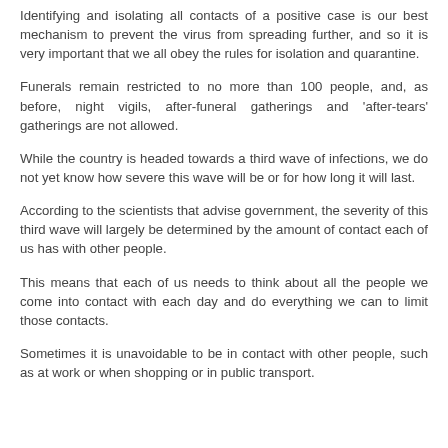Identifying and isolating all contacts of a positive case is our best mechanism to prevent the virus from spreading further, and so it is very important that we all obey the rules for isolation and quarantine.
Funerals remain restricted to no more than 100 people, and, as before, night vigils, after-funeral gatherings and 'after-tears' gatherings are not allowed.
While the country is headed towards a third wave of infections, we do not yet know how severe this wave will be or for how long it will last.
According to the scientists that advise government, the severity of this third wave will largely be determined by the amount of contact each of us has with other people.
This means that each of us needs to think about all the people we come into contact with each day and do everything we can to limit those contacts.
Sometimes it is unavoidable to be in contact with other people, such as at work or when shopping or in public transport.